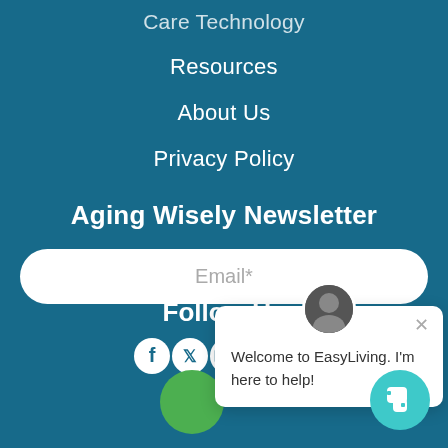Care Technology
Resources
About Us
Privacy Policy
Aging Wisely Newsletter
Email*
Welcome to EasyLiving. I'm here to help!
Follow Us